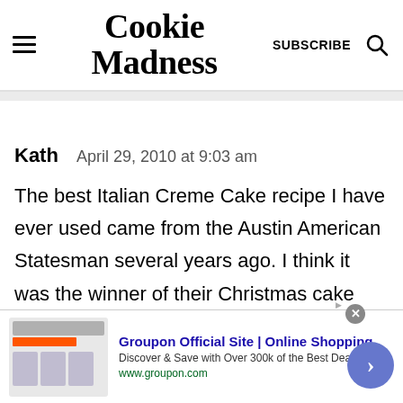Cookie Madness
Kath   April 29, 2010 at 9:03 am
The best Italian Creme Cake recipe I have ever used came from the Austin American Statesman several years ago. I think it was the winner of their Christmas cake contest. I've tried the many different...
[Figure (other): Groupon advertisement banner: 'Groupon Official Site | Online Shopping — Discover & Save with Over 300k of the Best Deals — www.groupon.com']